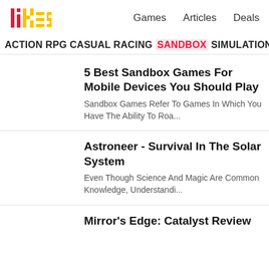likes — Games  Articles  Deals
ACTIONRPGCASUALRACINGSANDBOXSIMULATIONSPOR
5 Best Sandbox Games For Mobile Devices You Should Play
Sandbox Games Refer To Games In Which You Have The Ability To Roa...
Astroneer - Survival In The Solar System
Even Though Science And Magic Are Common Knowledge, Understandi...
Mirror's Edge: Catalyst Review